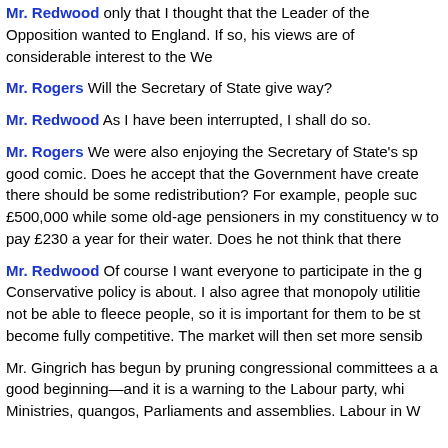Mr. Redwood only that I thought that the Leader of the Opposition wanted to England. If so, his views are of considerable interest to the We
Mr. Rogers Will the Secretary of State give way?
Mr. Redwood As I have been interrupted, I shall do so.
Mr. Rogers We were also enjoying the Secretary of State's sp good comic. Does he accept that the Government have create there should be some redistribution? For example, people suc £500,000 while some old-age pensioners in my constituency w to pay £230 a year for their water. Does he not think that there
Mr. Redwood Of course I want everyone to participate in the g Conservative policy is about. I also agree that monopoly utilitie not be able to fleece people, so it is important for them to be st become fully competitive. The market will then set more sensib
Mr. Gingrich has begun by pruning congressional committees a a good beginning—and it is a warning to the Labour party, whi Ministries, quangos, Parliaments and assemblies. Labour in W